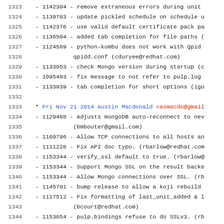Source code / changelog listing, lines 1323–1345
1323   - 1142304 - remove extraneous errors during unit
1324   - 1139703 - update pickled schedule on schedule u
1325   - 1142376 - use valid default certificate pack pa
1326   - 1136504 - added tab completion for file paths (
1327   - 1124589 - python-kombu does not work with Qpid
1328              qpidd.conf (cduryee@redhat.com)
1329   - 1133953 - check Mongo version during startup (c
1330   - 1095483 - fix message to not refer to pulp.log
1331   - 1133939 - tab completion for short options (igu
1332   (blank)
1333   * Fri Nov 21 2014 Austin Macdonald <asmacdo@gmail
1334   - 1129488 - Adjusts mongoDB auto-reconnect to nev
1335              (bmbouter@gmail.com)
1336   - 1160796 - Allow TCP connections to all hosts an
1337   - 1111228 - Fix API doc typo. (rbarlow@redhat.com
1338   - 1153344 - verify_ssl default to true. (rbarlow@
1339   - 1153344 - Support Mongo SSL on the result backe
1340   - 1153344 - Allow Mongo connections over SSL. (rb
1341   - 1145701 - bump release to allow a koji rebuild
1342   - 1117512 - Fix formatting of last_unit_added & l
1343              (bcourt@redhat.com)
1344   - 1153054 - pulp.bindings refuse to do SSLv3. (rb
1345   - 1102269 - Added documentation about deprecation